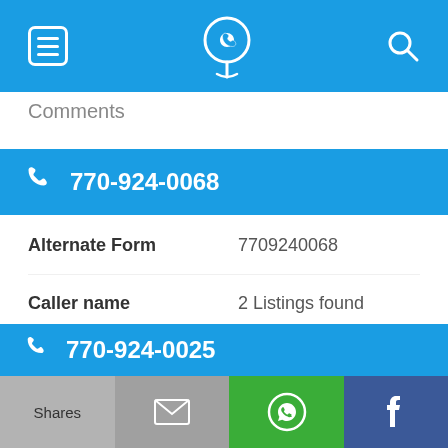Navigation bar with menu, phone/location icon, and search icon
Comments
770-924-0068
| Field | Value |
| --- | --- |
| Alternate Form | 7709240068 |
| Caller name | 2 Listings found |
| Last User Search | No searches yet |
| Comments |  |
770-924-0025
Shares | [email icon] | [WhatsApp icon] | [Facebook icon]